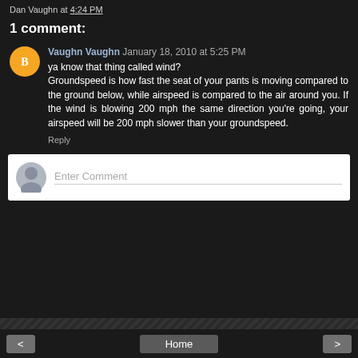Dan Vaughn at 4:24 PM
1 comment:
Vaughn Vaughn January 18, 2010 at 5:25 PM
ya know that thing called wind?
Groundspeed is how fast the seat of your pants is moving compared to the ground below, while airspeed is compared to the air around you. If the wind is blowing 200 mph the same direction you're going, your airspeed will be 200 mph slower than your groundspeed.
Reply
Enter Comment
< Home >